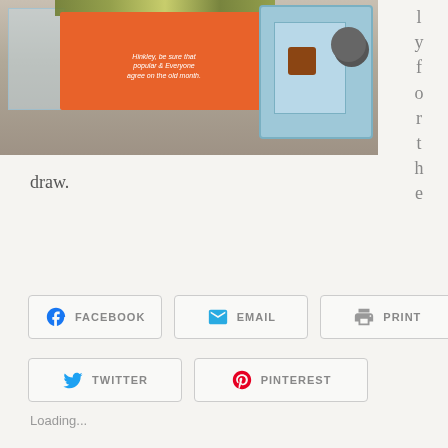[Figure (photo): A photograph of crafting/stationery items on a table: an orange card with white italic text, a striped item, and a blue wallet/purse with a badge and coins visible to the right.]
ly
f
o
r
t
h
e
draw.
FACEBOOK
EMAIL
PRINT
TWITTER
PINTEREST
Loading...